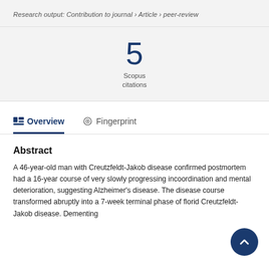Research output: Contribution to journal › Article › peer-review
5
Scopus
citations
Overview   Fingerprint
Abstract
A 46-year-old man with Creutzfeldt-Jakob disease confirmed postmortem had a 16-year course of very slowly progressing incoordination and mental deterioration, suggesting Alzheimer's disease. The disease course transformed abruptly into a 7-week terminal phase of florid Creutzfeldt-Jakob disease. Dementing